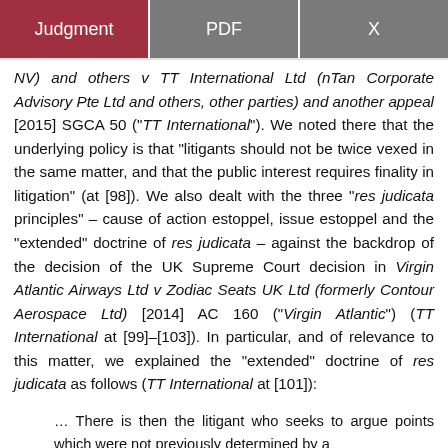Judgment | PDF | X
NV) and others v TT International Ltd (nTan Corporate Advisory Pte Ltd and others, other parties) and another appeal [2015] SGCA 50 (“TT International”). We noted there that the underlying policy is that “litigants should not be twice vexed in the same matter, and that the public interest requires finality in litigation” (at [98]). We also dealt with the three “res judicata principles” – cause of action estoppel, issue estoppel and the “extended” doctrine of res judicata – against the backdrop of the decision of the UK Supreme Court decision in Virgin Atlantic Airways Ltd v Zodiac Seats UK Ltd (formerly Contour Aerospace Ltd) [2014] AC 160 (“Virgin Atlantic”) (TT International at [99]–[103]). In particular, and of relevance to this matter, we explained the “extended” doctrine of res judicata as follows (TT International at [101]):
… There is then the litigant who seeks to argue points which were not previously determined by a